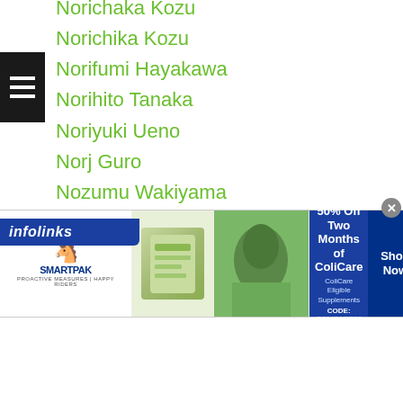Norichaka Kozu
Norichika Kozu
Norifumi Hayakawa
Norihito Tanaka
Noriyuki Ueno
Norj Guro
Nozumu Wakiyama
Ntv
Nurbol Sultanbay
Nurdos Tolebay
Nurshahidah Roslie
Nursultan Amanzholov
Nursultan Zhanabayev
Nursultan Zhangabayev
Nurtas Azhbenov
Sabirov
[Figure (infographic): SmartPak advertisement banner: 50% Off Two Months of ColiCare, ColiCare Eligible Supplements, CODE: COLICARE10, Shop Now button]